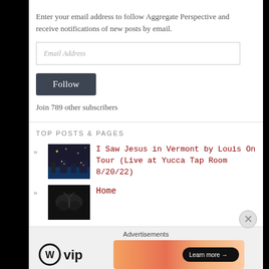Enter your email address to follow Aggregate Perspective and receive notifications of new posts by email.
Email Address
Follow
Join 789 other subscribers
TOP POSTS & PAGES
I Saw Jesus in Vermont by Louis On Tour (Live at Yucca Tap Room 8/20/22)
Home
Advertisements
[Figure (logo): WordPress VIP logo with WP circle icon and 'vip' text]
[Figure (other): Advertisement banner with gradient orange/pink background and 'Learn more' button with arrow]